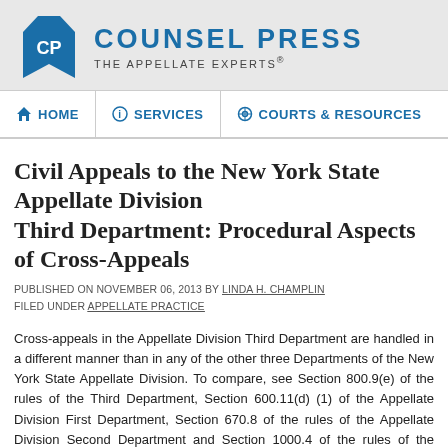[Figure (logo): Counsel Press logo with blue CP icon and text 'COUNSEL PRESS THE APPELLATE EXPERTS®']
HOME | SERVICES | COURTS & RESOURCES
Civil Appeals to the New York State Appellate Division Third Department: Procedural Aspects of Cross-Appeals
PUBLISHED ON NOVEMBER 06, 2013 BY LINDA H. CHAMPLIN
FILED UNDER APPELLATE PRACTICE
Cross-appeals in the Appellate Division Third Department are handled in a different manner than in any of the other three Departments of the New York State Appellate Division. To compare, see Section 800.9(e) of the rules of the Third Department, Section 600.11(d) (1) of the Appellate Division First Department, Section 670.8 of the rules of the Appellate Division Second Department and Section 1000.4 of the rules of the Appellate Division Fourth Department.
Who is responsible for filing the record or appendix?